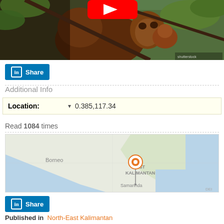[Figure (photo): Orangutan in tree with leaves, YouTube play button overlay visible at top center]
[Figure (screenshot): LinkedIn Share button - blue rectangle with 'in' icon and 'Share' text]
Additional Info
| Location: | 0.385,117.34 |
| --- | --- |
Read 1084 times
[Figure (map): Map showing East Kalimantan, Borneo region with orange location pin marker. Labels visible: Borneo, EAST KALIMANTAN, Samarinda]
[Figure (screenshot): LinkedIn Share button - blue rectangle with 'in' icon and 'Share' text]
Published in  North-East Kalimantan